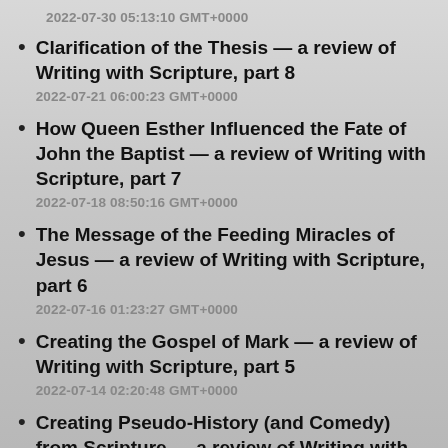2022-07-30 05:13:10 GMT+0000
Clarification of the Thesis — a review of Writing with Scripture, part 8
2022-07-21 06:00:23 GMT+0000
How Queen Esther Influenced the Fate of John the Baptist — a review of Writing with Scripture, part 7
2022-07-18 08:50:16 GMT+0000
The Message of the Feeding Miracles of Jesus — a review of Writing with Scripture, part 6
2022-07-16 01:23:27 GMT+0000
Creating the Gospel of Mark — a review of Writing with Scripture, part 5
2022-07-14 02:20:48 GMT+0000
Creating Pseudo-History (and Comedy) from Scripture — a review of Writing with Scripture,